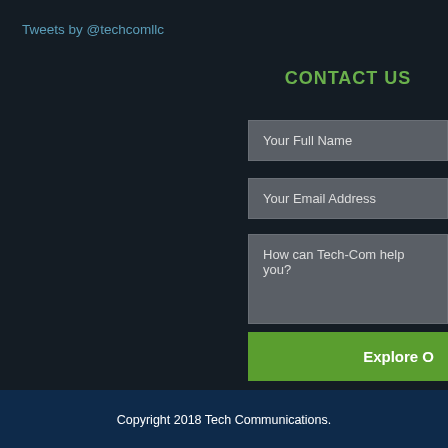Tweets by @techcomllc
CONTACT US
Your Full Name
Your Email Address
How can Tech-Com help you?
Explore O
Copyright 2018 Tech Communications.